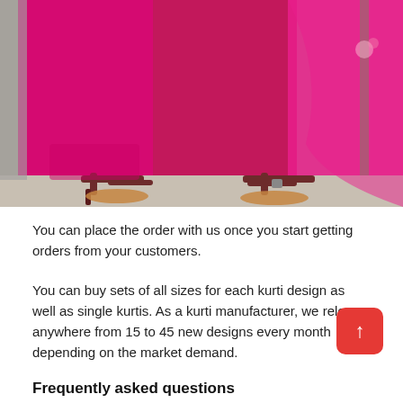[Figure (photo): Close-up photograph of two women's lower legs wearing bright magenta/pink traditional Indian salwar (churidar) pants and dupatta, with dark maroon strappy heeled sandals, standing on a stone/concrete surface.]
You can place the order with us once you start getting orders from your customers.
You can buy sets of all sizes for each kurti design as well as single kurtis. As a kurti manufacturer, we release anywhere from 15 to 45 new designs every month depending on the market demand.
Frequently asked questions
How long does delivery take?